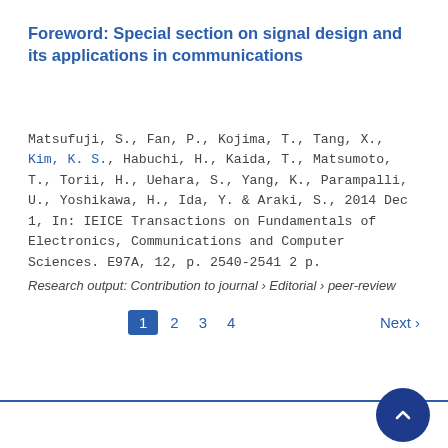Foreword: Special section on signal design and its applications in communications
Matsufuji, S., Fan, P., Kojima, T., Tang, X., Kim, K. S., Habuchi, H., Kaida, T., Matsumoto, T., Torii, H., Uehara, S., Yang, K., Parampalli, U., Yoshikawa, H., Ida, Y. & Araki, S., 2014 Dec 1, In: IEICE Transactions on Fundamentals of Electronics, Communications and Computer Sciences. E97A, 12, p. 2540-2541 2 p.
Research output: Contribution to journal › Editorial › peer-review
1
2
3
4
Next ›